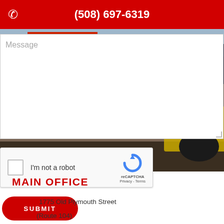(508) 697-6319
[Figure (screenshot): Construction site background with red crane machinery and yellow front loader]
Message
[Figure (screenshot): reCAPTCHA widget: checkbox, I'm not a robot label, reCAPTCHA logo, Privacy - Terms links]
SUBMIT
MAIN OFFICE
1775 Old Plymouth Street
(Route 104)